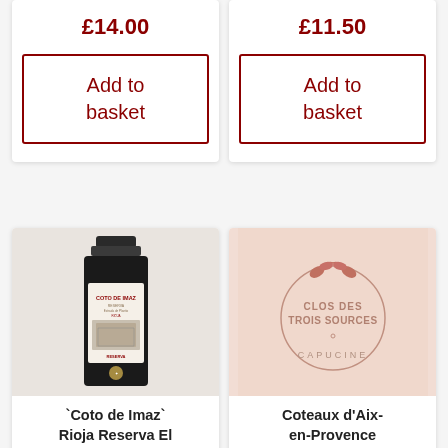£14.00
Add to basket
£11.50
Add to basket
[Figure (photo): Wine bottle labeled 'Coto de Imaz Rioja' - dark bottle with cream/white label showing castle image and RESERVA text]
`Coto de Imaz` Rioja Reserva El Coto 2017
[Figure (photo): Rose wine bottle label for Clos Des Trois Sources Capucine - pale pink background with circular logo, leaf motif, and text in salmon/rose color]
Coteaux d'Aix-en-Provence Organic Rosé